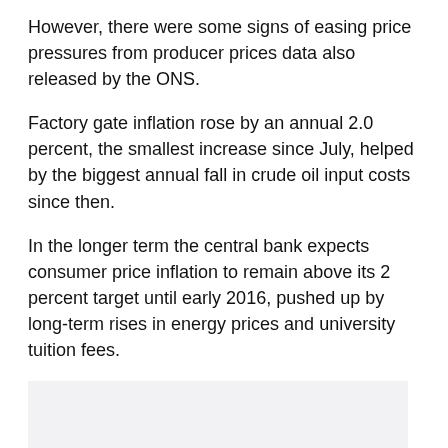However, there were some signs of easing price pressures from producer prices data also released by the ONS.
Factory gate inflation rose by an annual 2.0 percent, the smallest increase since July, helped by the biggest annual fall in crude oil input costs since then.
In the longer term the central bank expects consumer price inflation to remain above its 2 percent target until early 2016, pushed up by long-term rises in energy prices and university tuition fees.
[Figure (other): Empty light grey placeholder box, likely an image or chart area with no visible content.]
This inflation outlook has made some central bankers wary about increasing the amount of stimulus for Britain's